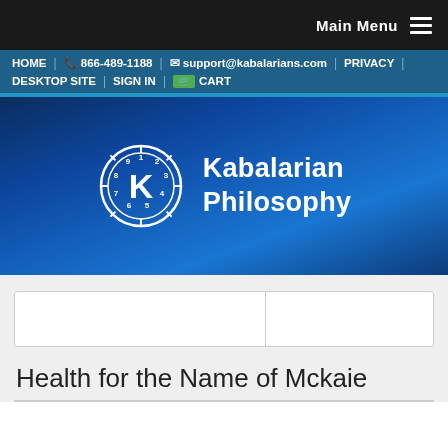Main Menu
HOME | 866-489-1188 | support@kabalarians.com | PRIVACY | DESKTOP SITE | SIGN IN | CART
[Figure (logo): Kabalarian Philosophy logo with a circular clock-like emblem showing numbers 1-9 and a K in the center, on a blue gradient background]
Health for the Name of Mckaie